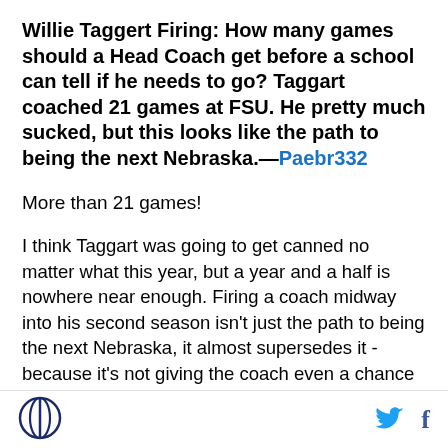Willie Taggert Firing: How many games should a Head Coach get before a school can tell if he needs to go? Taggart coached 21 games at FSU. He pretty much sucked, but this looks like the path to being the next Nebraska.—Paebr332
More than 21 games!
I think Taggart was going to get canned no matter what this year, but a year and a half is nowhere near enough. Firing a coach midway into his second season isn't just the path to being the next Nebraska, it almost supersedes it - because it's not giving the coach even a chance to make a bowl in his second year (FSU wasn't going to make a bowl, to be fair). Jimbo Fisher